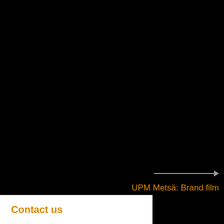[Figure (photo): Large dark/black background image filling most of the page, appearing to be a dark forest or nature scene for UPM Metsä brand]
UPM Metsä: Brand film
Contact us